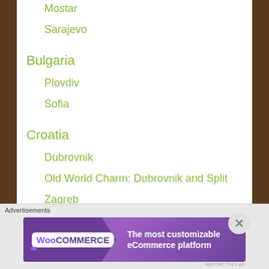Mostar
Sarajevo
Bulgaria
Plovdiv
Sofia
Croatia
Dubrovnik
Old World Charm: Dubrovnik and Split
Zagreb
Cyprus
Advertisements
[Figure (other): WooCommerce advertisement banner: The most customizable eCommerce platform]